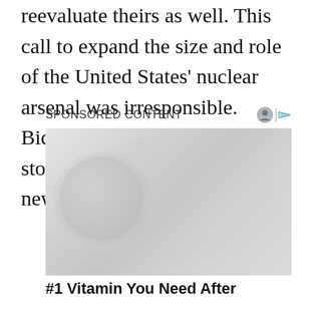reevaluate theirs as well. This call to expand the size and role of the United States' nuclear arsenal was irresponsible. Biden can reverse this by stopping the development of new nuclear weapons.
SPONSORED CONTENT
[Figure (photo): Blurred/faded advertisement image with circular shape on left side]
#1 Vitamin You Need After